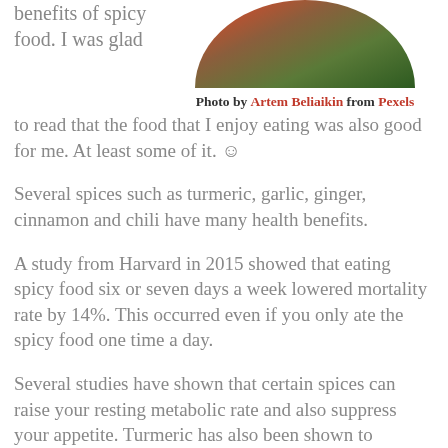benefits of spicy food. I was glad to read that the food that I enjoy eating was also good for me. At least some of it. ☺
[Figure (photo): Circular cropped photo of spicy food/peppers with green pine or herb elements, viewed from above on a wooden surface.]
Photo by Artem Beliaikin from Pexels
Several spices such as turmeric, garlic, ginger, cinnamon and chili have many health benefits.
A study from Harvard in 2015 showed that eating spicy food six or seven days a week lowered mortality rate by 14%. This occurred even if you only ate the spicy food one time a day.
Several studies have shown that certain spices can raise your resting metabolic rate and also suppress your appetite. Turmeric has also been shown to suppress fat